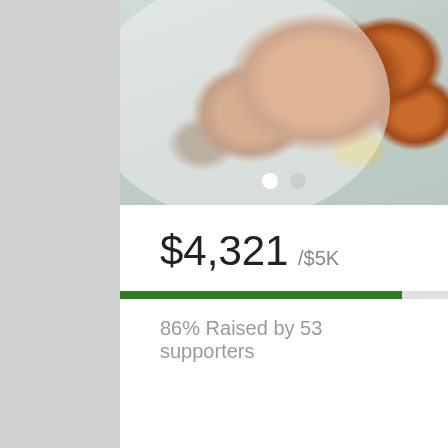[Figure (photo): Photo of food on a plate — orange/crinkle-cut items resembling carrots and other foods on a white plate, with slide navigation dots at the bottom]
$4,321 / $5K
86% Raised by 53 supporters
Sent from my iPhone using Tapatalk
Post Thanks / Like - 4 Likes, 0 Dislikes, 0 ELITE
Judd, karenbikes2@gmail.com, Boomer2U, komorebi liked this post
03-20-2022   01:17 PM